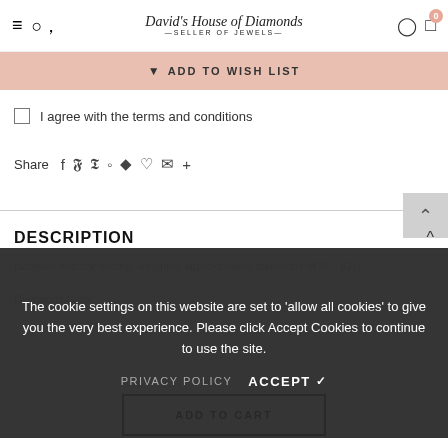David's House of Diamonds — Seller of Jewels
ADD TO WISH LIST
I agree with the terms and conditions
Share
DESCRIPTION
The cookie settings on this website are set to 'allow all cookies' to give you the very best experience. Please click Accept Cookies to continue to use the site.
PRIVACY POLICY   ACCEPT ✔
ADD TO CART